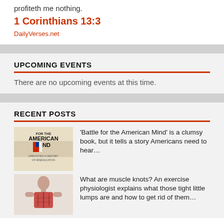profiteth me nothing.
1 Corinthians 13:3
DailyVerses.net
UPCOMING EVENTS
There are no upcoming events at this time.
RECENT POSTS
[Figure (illustration): Book cover: 'Battle for the American Mind — Uprooting a Century of Miseducation']
'Battle for the American Mind' is a clumsy book, but it tells a story Americans need to hear…
[Figure (illustration): Anatomical illustration of human back muscles]
What are muscle knots? An exercise physiologist explains what those tight little lumps are and how to get rid of them…